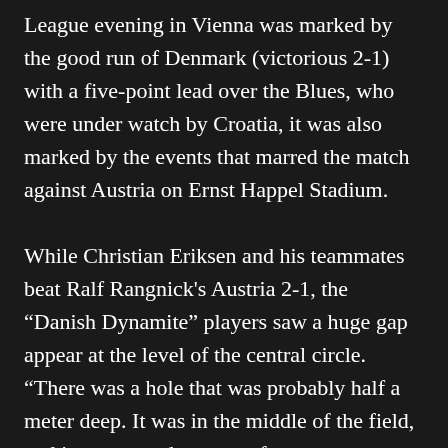League evening in Vienna was marked by the good run of Denmark (victorious 2-1) with a five-point lead over the Blues, who were under watch by Croatia, it was also marked by the events that marred the match against Austria on Ernst Happel Stadium.

While Christian Eriksen and his teammates beat Ralf Rangnick's Austria 2-1, the “Danish Dynamite” players saw a huge gap appear at the level of the central circle. “There was a hole that was probably half a meter deep. It was in the middle of the field, and it was very dangerous for someone to fall into it. You could break your leg, which upset Andreas Skov Olsen. THE S... (text continues)